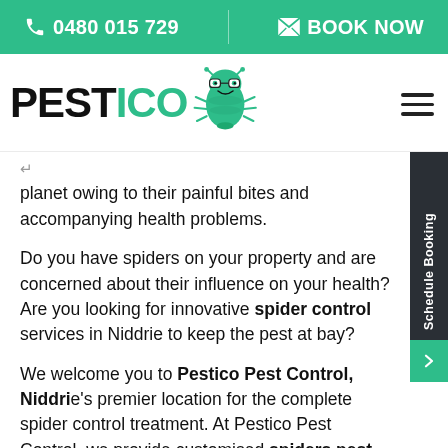📞 0480 015 729  |  ✉ BOOK NOW
[Figure (logo): Pestico logo with green cartoon bug mascot wearing glasses]
planet owing to their painful bites and accompanying health problems.
Do you have spiders on your property and are concerned about their influence on your health? Are you looking for innovative spider control services in Niddrie to keep the pest at bay?
We welcome you to Pestico Pest Control, Niddrie's premier location for the complete spider control treatment. At Pestico Pest Control, we provide customised spiders pest control treatments based on the type of spiders and the extent of the...